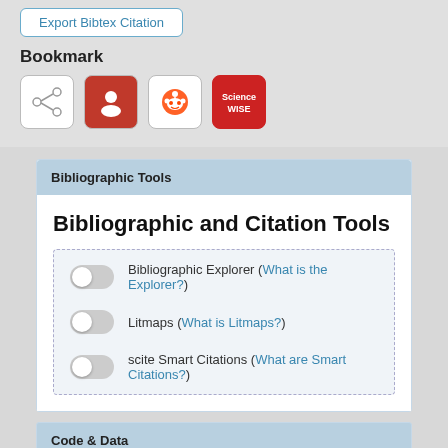Export Bibtex Citation
Bookmark
[Figure (screenshot): Four bookmark social sharing icon buttons: a network/cross icon, a person/face icon (red), a Reddit alien icon, and a ScienceWISE button (red/white)]
Bibliographic Tools
Bibliographic and Citation Tools
Bibliographic Explorer (What is the Explorer?)
Litmaps (What is Litmaps?)
scite Smart Citations (What are Smart Citations?)
Code & Data